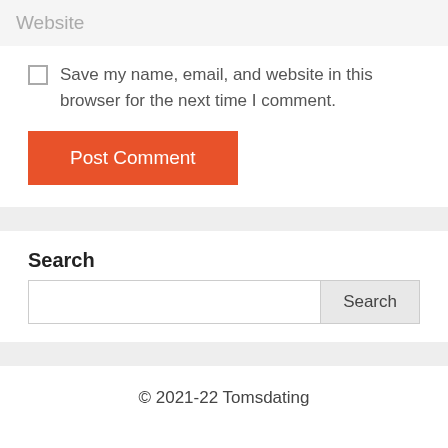Website
Save my name, email, and website in this browser for the next time I comment.
Post Comment
Search
Search
© 2021-22 Tomsdating